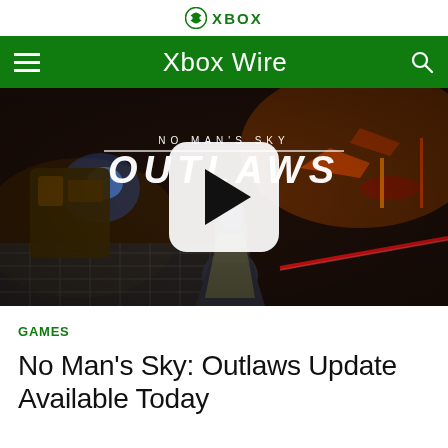XBOX
Xbox Wire
[Figure (screenshot): No Man's Sky: Outlaws game trailer thumbnail showing a cloaked character in a space station with ships and laser beams, with a play button overlay. Text overlay reads 'NO MAN'S SKY OUTLAWS']
GAMES
No Man’s Sky: Outlaws Update Available Today